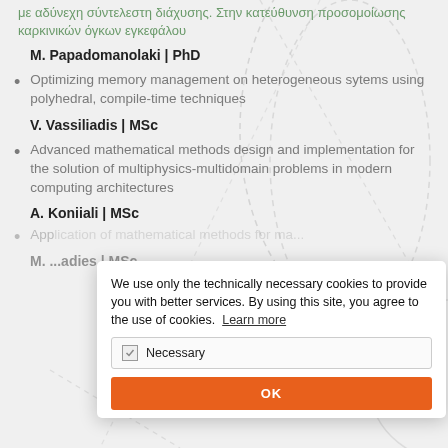με αδύνεχη σύντελεστη διάχυσης. Στην κατεύθυνση προσομοίωσης καρκινικών όγκων εγκεφάλου
M. Papadomanolaki | PhD
Optimizing memory management on heterogeneous sytems using polyhedral, compile-time techniques
V. Vassiliadis | MSc
Advanced mathematical methods design and implementation for the solution of multiphysics-multidomain problems in modern computing architectures
A. Koniiali | MSc
App... ma...
M. ...adies | MSc
[Figure (other): Cookie consent modal overlay with text: 'We use only the technically necessary cookies to provide you with better services. By using this site, you agree to the use of cookies. Learn more', a checkbox for 'Necessary', and an OK button.]